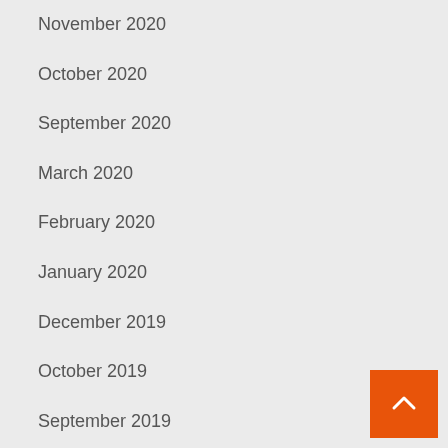November 2020
October 2020
September 2020
March 2020
February 2020
January 2020
December 2019
October 2019
September 2019
August 2019
July 2019
June 2019
May 2019